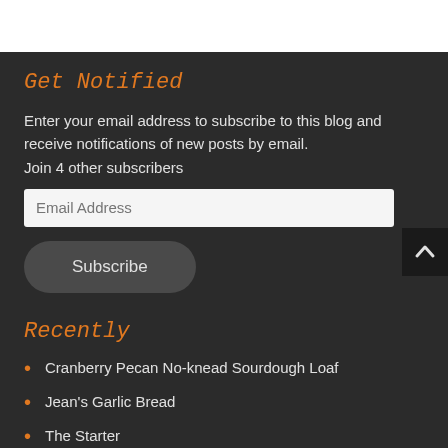Get Notified
Enter your email address to subscribe to this blog and receive notifications of new posts by email. Join 4 other subscribers
Recently
Cranberry Pecan No-knead Sourdough Loaf
Jean's Garlic Bread
The Starter